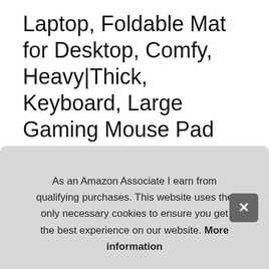Laptop, Foldable Mat for Desktop, Comfy, Heavy|Thick, Keyboard, Large Gaming Mouse Pad with Nonslip Base|Extended XXL Size
#ad
[Figure (photo): Four product thumbnail images of a large gaming mouse pad: first showing a technical diagram with dimensions, second showing the mat being peeled/curled revealing black rubber underside, third showing the rolled-up mat corner with black exterior, fourth showing the mat rolled into a cylinder showing layers.]
As an Amazon Associate I earn from qualifying purchases. This website uses the only necessary cookies to ensure you get the best experience on our website. More information
Qisa... the ... doe...
Thick, comfortable, firm, mouse pad using premium materials